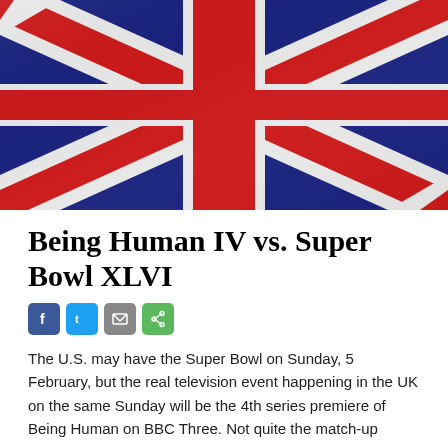[Figure (photo): Union Jack (UK flag) waving, close-up photo with dramatic lighting showing red, white and blue colours]
Being Human IV vs. Super Bowl XLVI
[Figure (infographic): Social media sharing icons: Facebook (blue), Twitter (light blue), Email (grey), Share (green)]
The U.S. may have the Super Bowl on Sunday, 5 February, but the real television event happening in the UK on the same Sunday will be the 4th series premiere of Being Human on BBC Three. Not quite the match-up